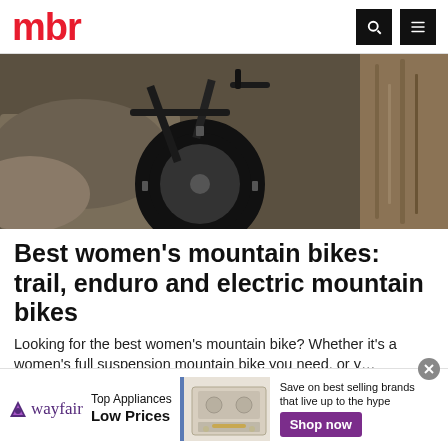mbr
[Figure (photo): Mountain bike close-up on rocky trail with tree bark visible on right side]
Best women’s mountain bikes: trail, enduro and electric mountain bikes
Looking for the best women’s mountain bike? Whether it’s a women’s full suspension mountain bike you need, or y…
MBR
[Figure (photo): Wall with electrical outlets and dark mold/water damage stains]
[Figure (advertisement): Wayfair advertisement: Top Appliances Low Prices, image of a range/stove, Save on best selling brands that live up to the hype, Shop now button]